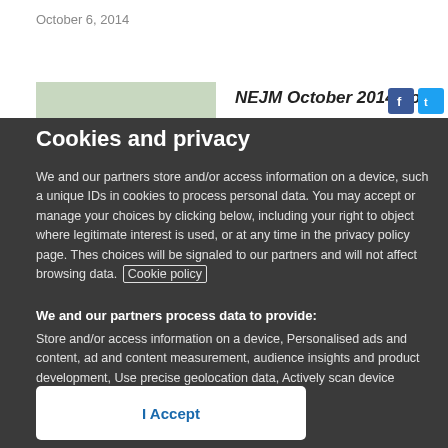October 6, 2014
NEJM October 2014 Vol.
Cookies and privacy
We and our partners store and/or access information on a device, such as unique IDs in cookies to process personal data. You may accept or manage your choices by clicking below, including your right to object where legitimate interest is used, or at any time in the privacy policy page. These choices will be signaled to our partners and will not affect browsing data. Cookie policy
We and our partners process data to provide:
Store and/or access information on a device, Personalised ads and content, ad and content measurement, audience insights and product development, Use precise geolocation data, Actively scan device characteristics for identification
List of Partners (vendors)
I Accept